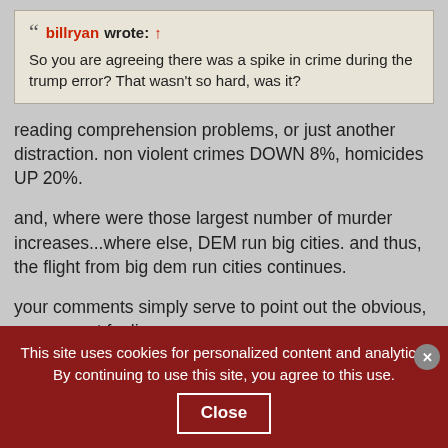billryan wrote: ↑ So you are agreeing there was a spike in crime during the trump error? That wasn't so hard, was it?
reading comprehension problems, or just another distraction. non violent crimes DOWN 8%, homicides UP 20%.
and, where were those largest number of murder increases...where else, DEM run big cities. and thus, the flight from big dem run cities continues.
your comments simply serve to point out the obvious, you are not fooling anyone.
This site uses cookies for personalized content and analytics. By continuing to use this site, you agree to this use.